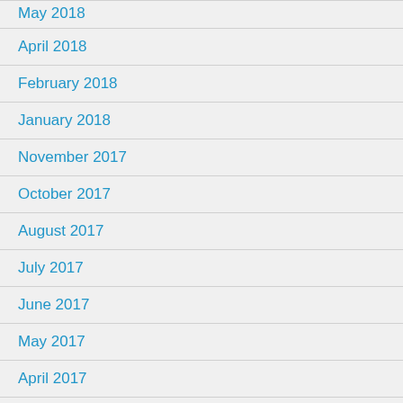May 2018
April 2018
February 2018
January 2018
November 2017
October 2017
August 2017
July 2017
June 2017
May 2017
April 2017